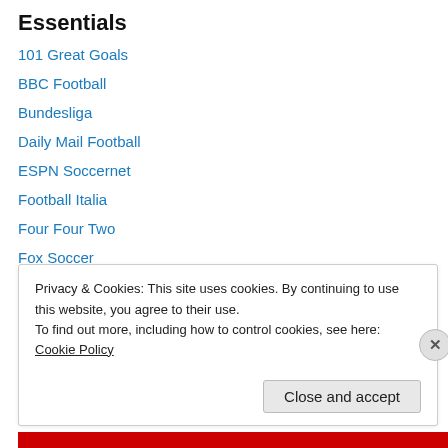Essentials
101 Great Goals
BBC Football
Bundesliga
Daily Mail Football
ESPN Soccernet
Football Italia
Four Four Two
Fox Soccer
Goal
Guardian Football
Ligue 1
Major League Soccer
Privacy & Cookies: This site uses cookies. By continuing to use this website, you agree to their use.
To find out more, including how to control cookies, see here: Cookie Policy
Close and accept